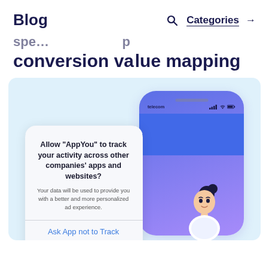Blog    Categories →
conversion value mapping
[Figure (illustration): iOS-style app tracking permission dialog mockup showing a phone with an alert box that reads: Allow "AppYou" to track your activity across other companies' apps and websites? Your data will be used to provide you with a better and more personalized ad experience. With buttons: Ask App not to Track and Allow. A cartoon character (person with dark hair bun) is partially visible at the bottom right.]